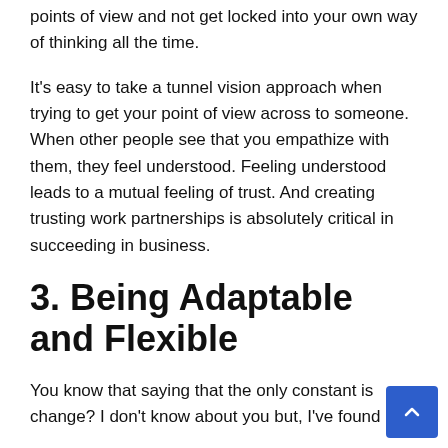points of view and not get locked into your own way of thinking all the time.
It's easy to take a tunnel vision approach when trying to get your point of view across to someone. When other people see that you empathize with them, they feel understood. Feeling understood leads to a mutual feeling of trust. And creating trusting work partnerships is absolutely critical in succeeding in business.
3. Being Adaptable and Flexible
You know that saying that the only constant is change? I don't know about you but, I've found